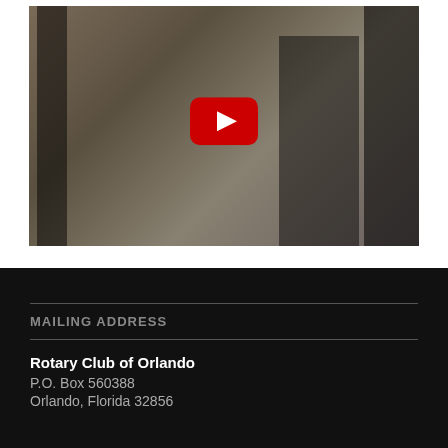[Figure (photo): YouTube video thumbnail showing people in an outdoor scene; a YouTube play button overlay is visible in the center. One person is crouching on the left, another is standing on the right, and more people are visible in the background.]
MAILING ADDRESS
Rotary Club of Orlando
P.O. Box 560388
Orlando, Florida 32856